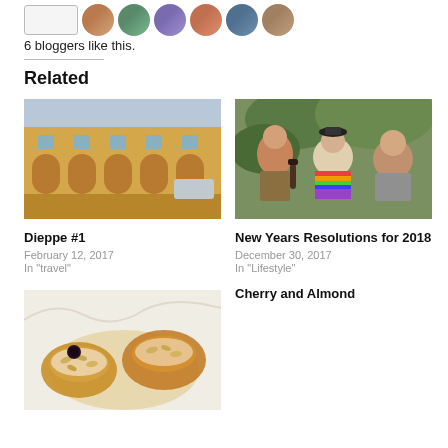6 bloggers like this.
Related
[Figure (photo): Photograph of a yellow building facade with arched colonnade — Dieppe #1]
Dieppe #1
February 12, 2017
In "travel"
[Figure (photo): Photograph of three women sitting together, one wearing a rainbow shirt, holding bottles — New Years Resolutions for 2018]
New Years Resolutions for 2018
December 30, 2017
In "Lifestyle"
[Figure (photo): Photograph of cherry and almond pastries on a surface — Cherry and Almond]
Cherry and Almond